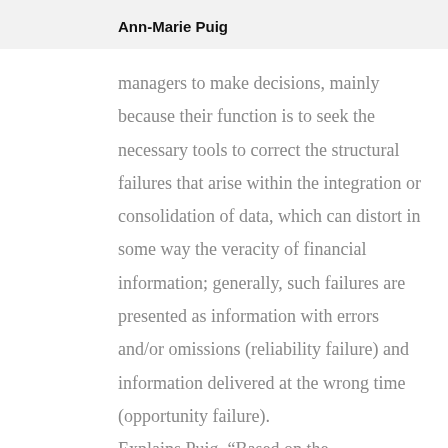Ann-Marie Puig
managers to make decisions, mainly because their function is to seek the necessary tools to correct the structural failures that arise within the integration or consolidation of data, which can distort in some way the veracity of financial information; generally, such failures are presented as information with errors and/or omissions (reliability failure) and information delivered at the wrong time (opportunity failure).
Explains Puig, “Based on the